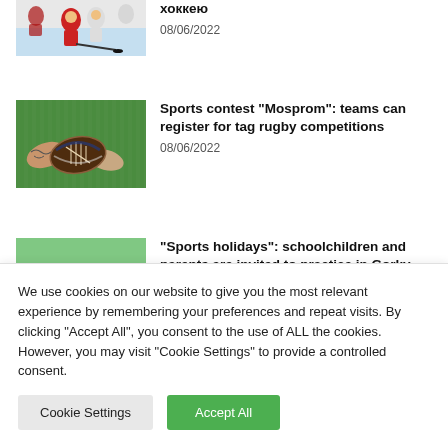[Figure (photo): Hockey players on ice, partial image cut at top]
хоккею
08/06/2022
[Figure (photo): Hands holding a rugby ball on green grass]
Sports contest “Mosprom”: teams can register for tag rugby competitions
08/06/2022
[Figure (photo): Table tennis paddle and ball near a pool or water surface, child in background]
“Sports holidays”: schoolchildren and parents are invited to practice in Gorky...
08/06/2022
We use cookies on our website to give you the most relevant experience by remembering your preferences and repeat visits. By clicking “Accept All”, you consent to the use of ALL the cookies. However, you may visit “Cookie Settings” to provide a controlled consent.